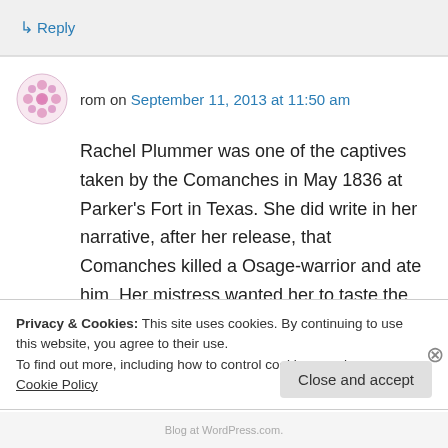↳ Reply
rom on September 11, 2013 at 11:50 am
Rachel Plummer was one of the captives taken by the Comanches in May 1836 at Parker's Fort in Texas. She did write in her narrative, after her release, that Comanches killed a Osage-warrior and ate him. Her mistress wanted her to taste the flesh and she almost fainted in disgust. But
Privacy & Cookies: This site uses cookies. By continuing to use this website, you agree to their use.
To find out more, including how to control cookies, see here: Cookie Policy
Close and accept